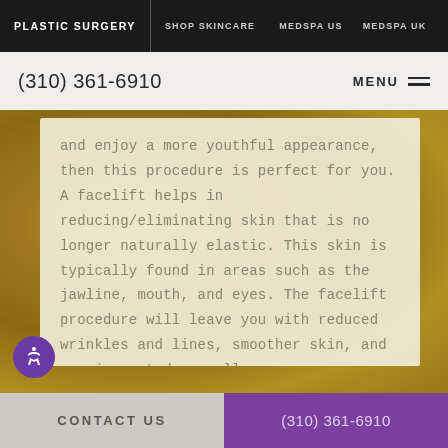PLASTIC SURGERY  |  SHOP SKINCARE  |  MEDSPA US  |  MEDSPA UK
(310) 361-6910   MENU
and enjoy a more youthful appearance, then this procedure is perfect for you. A facelift helps in reducing/eliminating skin that is no longer naturally elastic. This skin is typically found in areas such as the jawline, mouth, and eyes. The facelift procedure will leave you with reduced wrinkles and lines, smoother skin, and a rejuvenated overall appearance.
CONTACT US  |  (310) 361-6910